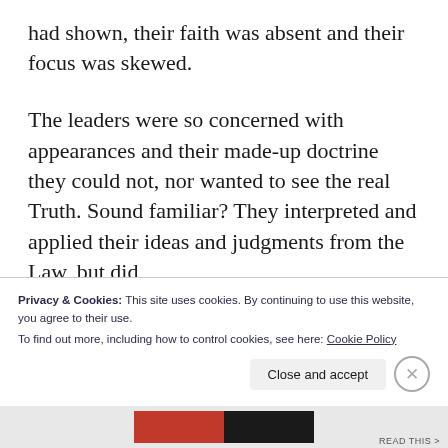had shown, their faith was absent and their focus was skewed.
The leaders were so concerned with appearances and their made-up doctrine they could not, nor wanted to see the real Truth. Sound familiar? They interpreted and applied their ideas and judgments from the Law, but did
Privacy & Cookies: This site uses cookies. By continuing to use this website, you agree to their use.
To find out more, including how to control cookies, see here: Cookie Policy
Close and accept